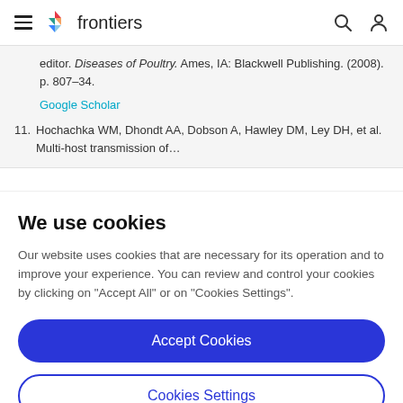frontiers
editor. Diseases of Poultry. Ames, IA: Blackwell Publishing. (2008). p. 807–34.
Google Scholar
11. Hochachka WM, Dhondt AA, Dobson A, Hawley DM, Ley DH, et al. Multi-host transmission of...
We use cookies
Our website uses cookies that are necessary for its operation and to improve your experience. You can review and control your cookies by clicking on "Accept All" or on "Cookies Settings".
Accept Cookies
Cookies Settings